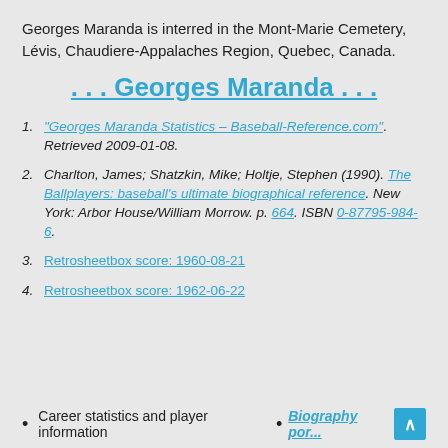Georges Maranda is interred in the Mont-Marie Cemetery, Lévis, Chaudiere-Appalaches Region, Quebec, Canada.
. . . Georges Maranda . . .
1. "Georges Maranda Statistics – Baseball-Reference.com". Retrieved 2009-01-08.
2. Charlton, James; Shatzkin, Mike; Holtje, Stephen (1990). The Ballplayers: baseball's ultimate biographical reference. New York: Arbor House/William Morrow. p. 664. ISBN 0-87795-984-6.
3. Retrosheetbox score: 1960-08-21
4. Retrosheetbox score: 1962-06-22
Career statistics and player information • Biography portal